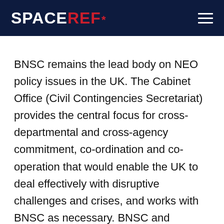SPACEREF*
BNSC remains the lead body on NEO policy issues in the UK. The Cabinet Office (Civil Contingencies Secretariat) provides the central focus for cross-departmental and cross-agency commitment, co-ordination and co-operation that would enable the UK to deal effectively with disruptive challenges and crises, and works with BNSC as necessary. BNSC and interested Government Departments, including MOD and PPARC, share information on NEO issues and are in regular contact.